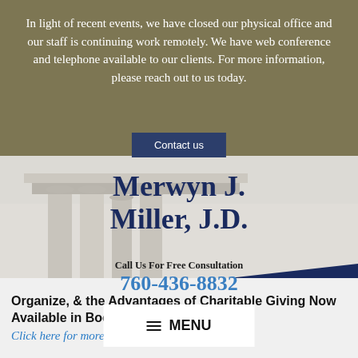In light of recent events, we have closed our physical office and our staff is continuing work remotely. We have web conference and telephone available to our clients. For more information, please reach out to us today.
Contact us
[Figure (screenshot): Law firm website header with courthouse columns background, firm name 'Merwyn J. Miller, J.D.', phone number 760-436-8832, and MENU button]
Organize, & the Advantages of Charitable Giving Now Available in Book Format.
Click here for more information.